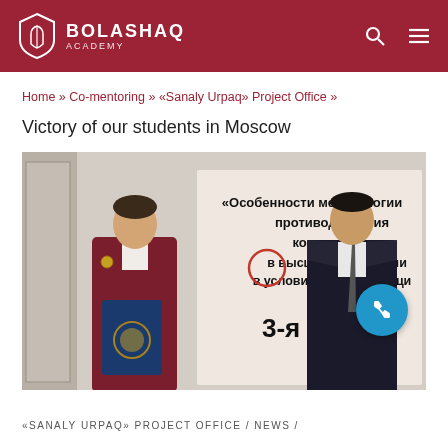BOLASHAQ ACADEMY
Home » Co-mentoring » «Sanaly Urpaq» Project Office » Victory of our students in Moscow
Victory of our students in Moscow
[Figure (photo): Two students standing in front of a banner in Russian reading «Особенности методологии противодействия коррупции в высшем образовании в условиях цифровизации» 3-я секция. The woman on the left wears a burgundy blazer with medals and holds a blue folder. The man on the right wears a dark suit with a tie.]
«SANALY URPAQ» PROJECT OFFICE / NEWS /